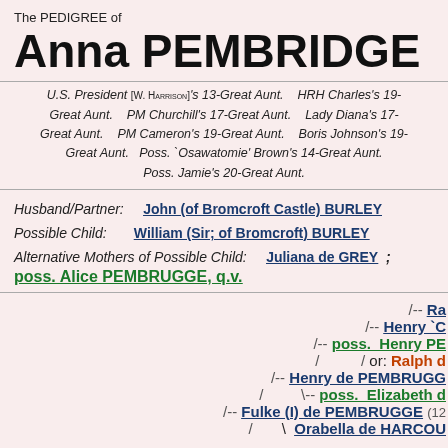The PEDIGREE of
Anna PEMBRIDGE
U.S. President [W. HARRISON]'s 13-Great Aunt.   HRH Charles's 19-Great Aunt.   PM Churchill's 17-Great Aunt.   Lady Diana's 17-Great Aunt.   PM Cameron's 19-Great Aunt.   Boris Johnson's 19-Great Aunt.   Poss. `Osawatomie' Brown's 14-Great Aunt.   Poss. Jamie's 20-Great Aunt.
Husband/Partner: John (of Bromcroft Castle) BURLEY
Possible Child: William (Sir; of Bromcroft) BURLEY
Alternative Mothers of Possible Child: Juliana de GREY ; poss. Alice PEMBRUGGE, q.v.
[Figure (other): Pedigree tree showing ancestors of Anna PEMBRIDGE including /-- Ra..., /-- Henry 'C..., /-- poss. Henry PE..., / / or: Ralph ..., /-- Henry de PEMBRUGG..., / \-- poss. Elizabeth ..., /-- Fulke (I) de PEMBRUGGE (12..., / Orabella de HARCOU...]